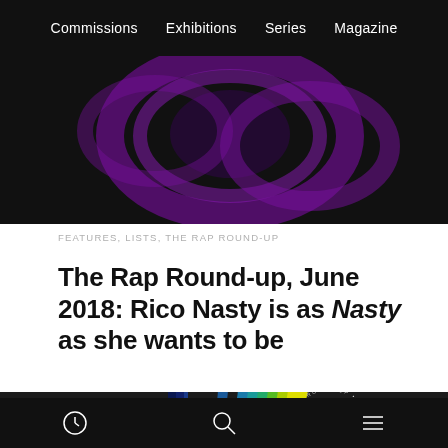Commissions  Exhibitions  Series  Magazine
[Figure (photo): Dark background image with purple glowing circular/oval shapes, partial view]
FEATURES, LISTS, THE RAP ROUND-UP
The Rap Round-up, June 2018: Rico Nasty is as Nasty as she wants to be
[Figure (logo): Dark background with stylized letter R logo made of colorful concentric stripes (blue, teal, green, yellow gradient), with circular text reading THE RAP ROUND-UP and FADER MAGAZINE]